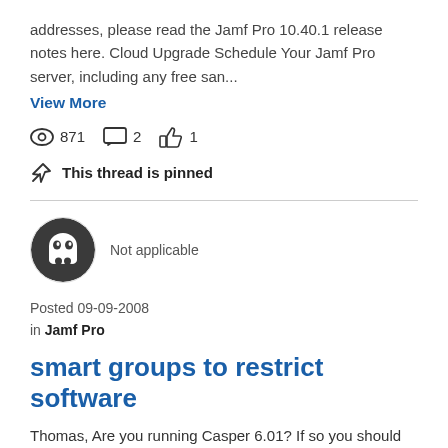addresses, please read the Jamf Pro 10.40.1 release notes here. Cloud Upgrade Schedule Your Jamf Pro server, including any free san...
View More
871  2  1
This thread is pinned
[Figure (illustration): User avatar with ghost/character icon on dark circular background]
Not applicable
Posted 09-09-2008 in Jamf Pro
smart groups to restrict software
Thomas, Are you running Casper 6.01? If so you should be